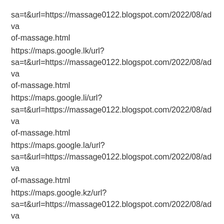sa=t&url=https://massage0122.blogspot.com/2022/08/adva of-massage.html
https://maps.google.lk/url? sa=t&url=https://massage0122.blogspot.com/2022/08/adva of-massage.html
https://maps.google.li/url? sa=t&url=https://massage0122.blogspot.com/2022/08/adva of-massage.html
https://maps.google.la/url? sa=t&url=https://massage0122.blogspot.com/2022/08/adva of-massage.html
https://maps.google.kz/url? sa=t&url=https://massage0122.blogspot.com/2022/08/adva of-massage.html
https://maps.google.kg/url? sa=t&url=https://massage0122.blogspot.com/2022/08/adva of-massage.html